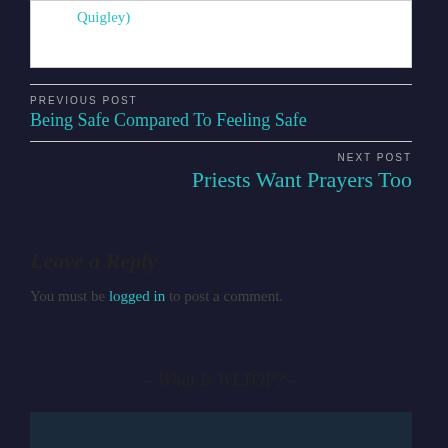Quigley)
PREVIOUS POST
Being Safe Compared To Feeling Safe
NEXT POST
Priests Want Prayers Too
Leave a Reply
You must be logged in to post a comment.
- What Is WLTOP? -